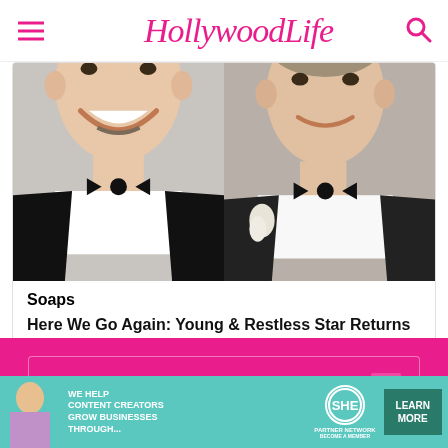HollywoodLife
[Figure (photo): Two men in tuxedos with bow ties side by side, appearing to be at a formal event or wedding]
Soaps
Here We Go Again: Young & Restless Star Returns to General Hospital
[Figure (screenshot): HollywoodLife pink branded footer panel with chevron and X button]
[Figure (infographic): SHE Partner Network advertisement banner: WE HELP CONTENT CREATORS GROW BUSINESSES THROUGH... LEARN MORE]